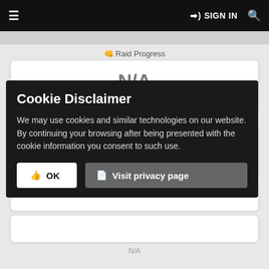☰   ➡) SIGN IN 🔍
👊 Raid Progress
N/A
no achievement
🔨 Avg. iLvl (Top 20)
0.0
N/A
Cookie Disclaimer
We may use cookies and similar technologies on our website. By continuing your browsing after being presented with the cookie information you consent to such use.
👍 OK   📄 Visit privacy page
N/A